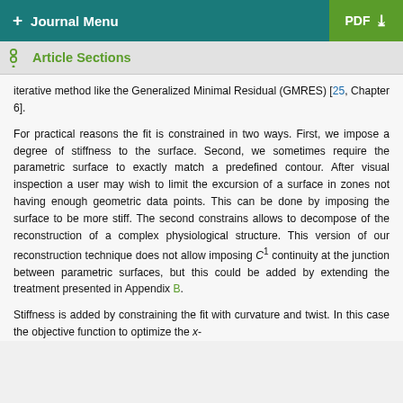+ Journal Menu | PDF
Article Sections
iterative method like the Generalized Minimal Residual (GMRES) [25, Chapter 6].
For practical reasons the fit is constrained in two ways. First, we impose a degree of stiffness to the surface. Second, we sometimes require the parametric surface to exactly match a predefined contour. After visual inspection a user may wish to limit the excursion of a surface in zones not having enough geometric data points. This can be done by imposing the surface to be more stiff. The second constrains allows to decompose of the reconstruction of a complex physiological structure. This version of our reconstruction technique does not allow imposing C1 continuity at the junction between parametric surfaces, but this could be added by extending the treatment presented in Appendix B.
Stiffness is added by constraining the fit with curvature and twist. In this case the objective function to optimize the x-component becomes